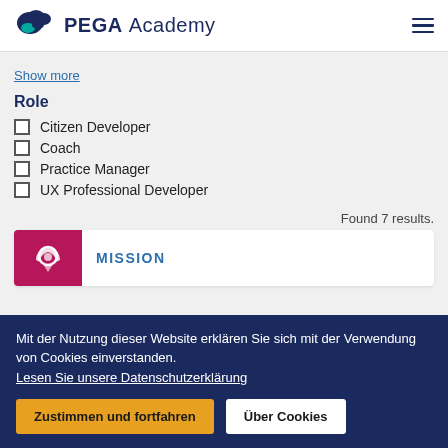PEGA Academy
Show more
Role
Citizen Developer
Coach
Practice Manager
UX Professional Developer
Found 7 results.
MISSION
Mit der Nutzung dieser Website erklären Sie sich mit der Verwendung von Cookies einverstanden. Lesen Sie unsere Datenschutzerklärung
Zustimmen und fortfahren
Über Cookies